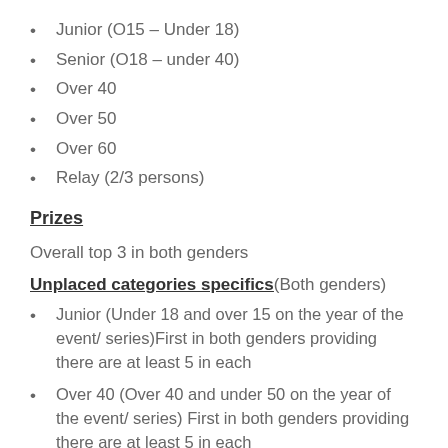Junior (O15 – Under 18)
Senior (O18 – under 40)
Over 40
Over 50
Over 60
Relay (2/3 persons)
Prizes
Overall top 3 in both genders
Unplaced categories specifics(Both genders)
Junior (Under 18 and over 15 on the year of the event/ series)First in both genders providing there are at least 5 in each
Over 40 (Over 40 and under 50 on the year of the event/ series) First in both genders providing there are at least 5 in each
Over 50 (Over 50 and under 60 on the year of the event/ series) First in both genders providing there are at least 5 in each